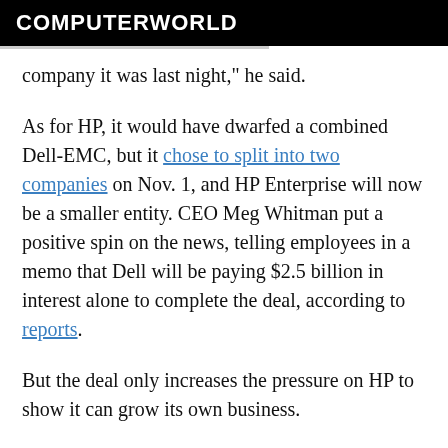COMPUTERWORLD
company it was last night," he said.
As for HP, it would have dwarfed a combined Dell-EMC, but it chose to split into two companies on Nov. 1, and HP Enterprise will now be a smaller entity. CEO Meg Whitman put a positive spin on the news, telling employees in a memo that Dell will be paying $2.5 billion in interest alone to complete the deal, according to reports.
But the deal only increases the pressure on HP to show it can grow its own business.
"This deal probably accelerates HP Enterprise's